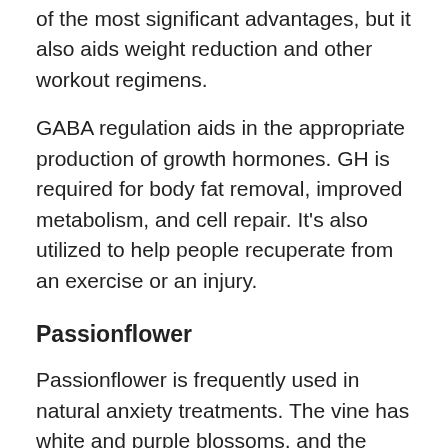of the most significant advantages, but it also aids weight reduction and other workout regimens.
GABA regulation aids in the appropriate production of growth hormones. GH is required for body fat removal, improved metabolism, and cell repair. It’s also utilized to help people recuperate from an exercise or an injury.
Passionflower
Passionflower is frequently used in natural anxiety treatments. The vine has white and purple blossoms, and the compounds that may be derived naturally from it are frequently relaxing.
While some individuals associate the relaxation with cannabis, there is no danger of getting “high.”
Because the vine serves as an antioxidant, customers will notice a reduction in pollutants as well as a reduction in